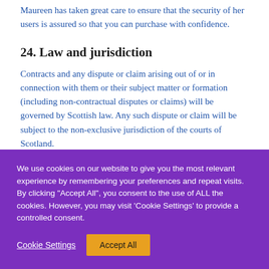Maureen has taken great care to ensure that the security of her users is assured so that you can purchase with confidence.
24. Law and jurisdiction
Contracts and any dispute or claim arising out of or in connection with them or their subject matter or formation (including non-contractual disputes or claims) will be governed by Scottish law. Any such dispute or claim will be subject to the non-exclusive jurisdiction of the courts of Scotland.
We use cookies on our website to give you the most relevant experience by remembering your preferences and repeat visits. By clicking "Accept All", you consent to the use of ALL the cookies. However, you may visit 'Cookie Settings' to provide a controlled consent.